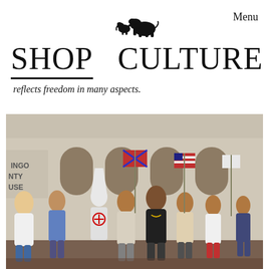[Figure (logo): Two elephant silhouettes (small and large) used as a logo/header icon]
Menu
SHOP
CULTURE
reflects freedom in many aspects.
[Figure (photo): A group of people posing together in front of a building, some wearing KKK hoods, others making hand gestures, with Confederate and American flags visible in the background]